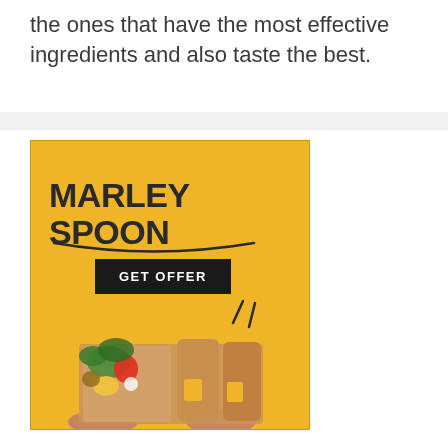the ones that have the most effective ingredients and also taste the best.
[Figure (illustration): Marley Spoon advertisement banner on yellow background with logo, GET OFFER button, and a meal kit delivery box with vegetables]